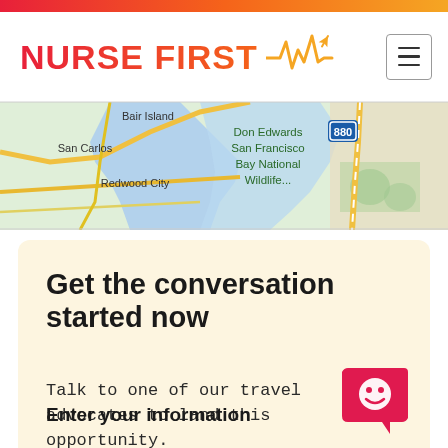NURSE FIRST
[Figure (map): Google Maps view showing Bair Island, San Carlos, Redwood City, Don Edwards San Francisco Bay National Wildlife area, with highway 880 visible]
Get the conversation started now
Talk to one of our travel advocates to land this opportunity.
Enter your information
[Figure (illustration): Pink chat bubble icon with a smiling face]